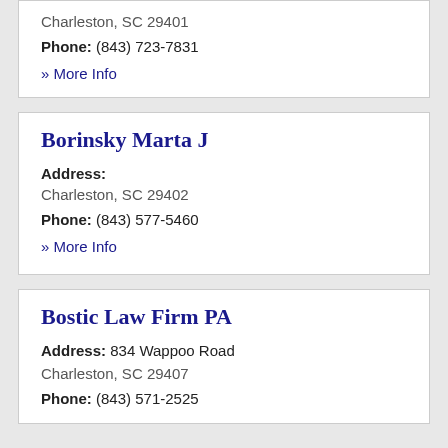Charleston, SC 29401
Phone: (843) 723-7831
» More Info
Borinsky Marta J
Address:
Charleston, SC 29402
Phone: (843) 577-5460
» More Info
Bostic Law Firm PA
Address: 834 Wappoo Road
Charleston, SC 29407
Phone: (843) 571-2525